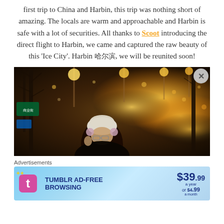first trip to China and Harbin, this trip was nothing short of amazing. The locals are warm and approachable and Harbin is safe with a lot of securities. All thanks to Scoot introducing the direct flight to Harbin, we came and captured the raw beauty of this ‘Ice City’. Harbin [Chinese chars], we will be reunited soon!
[Figure (photo): A woman smiling in warm winter clothing with a white beanie hat, standing on a street lined with glowing golden lights and bare trees in Harbin, China at night.]
Advertisements
[Figure (infographic): Tumblr Ad-Free Browsing advertisement banner showing $39.99 a year or $4.99 a month pricing with Tumblr pink T logo and blue gradient background.]